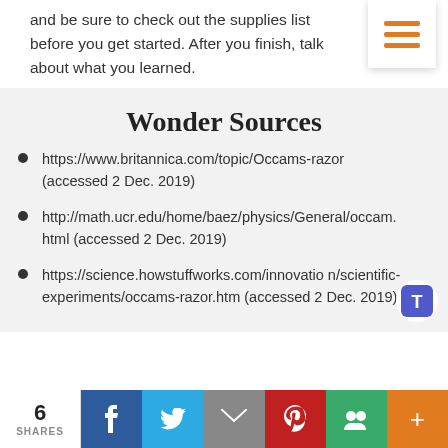and be sure to check out the supplies list before you get started. After you finish, talk about what you learned.
Wonder Sources
https://www.britannica.com/topic/Occams-razor (accessed 2 Dec. 2019)
http://math.ucr.edu/home/baez/physics/General/occam.html (accessed 2 Dec. 2019)
https://science.howstuffworks.com/innovation/scientific-experiments/occams-razor.htm (accessed 2 Dec. 2019)
6 SHARES | Facebook | Twitter | Email | Pinterest | Google+ | +